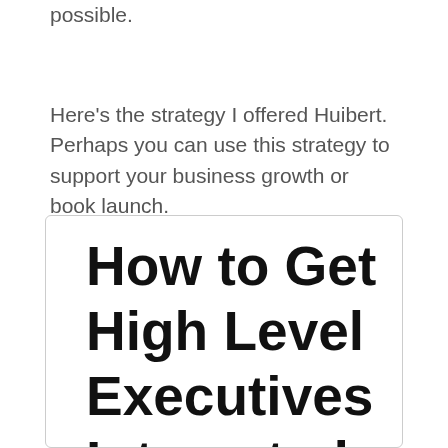possible.
Here's the strategy I offered Huibert. Perhaps you can use this strategy to support your business growth or book launch.
How to Get High Level Executives Interested in Your Work